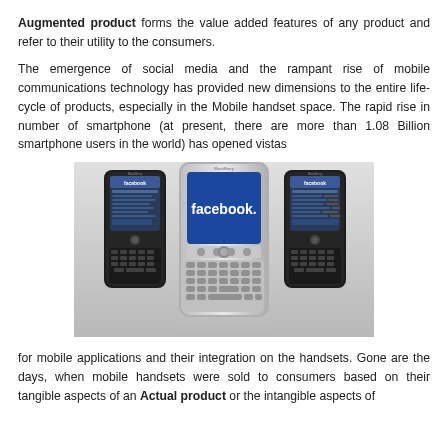Augmented product forms the value added features of any product and refer to their utility to the consumers.
The emergence of social media and the rampant rise of mobile communications technology has provided new dimensions to the entire life-cycle of products, especially in the Mobile handset space. The rapid rise in number of smartphone (at present, there are more than 1.08 Billion smartphone users in the world) has opened vistas
[Figure (photo): Three BlackBerry smartphones displayed side by side, with the center phone showing a Facebook app on its blue screen. The phones appear to be BlackBerry Curve or Bold models with QWERTY keyboards.]
for mobile applications and their integration on the handsets. Gone are the days, when mobile handsets were sold to consumers based on their tangible aspects of an Actual product or the intangible aspects of